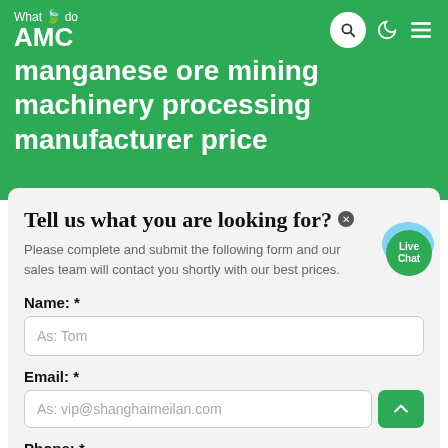What we do AMC manganese ore mining machinery processing manufacturer price
Tell us what you are looking for?
Please complete and submit the following form and our sales team will contact you shortly with our best prices.
Name: *
As: Tom
Email: *
As: vip@shanghaimeilan.com
Phone: *
With Country Code